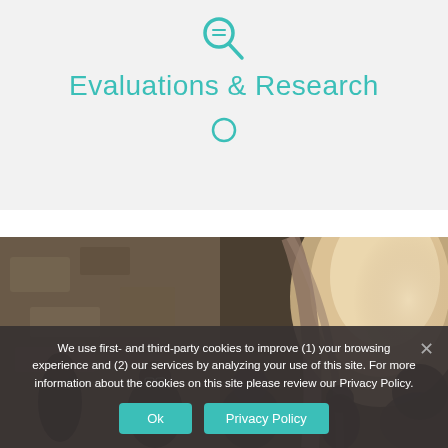[Figure (logo): Teal magnifying glass icon at top of page]
Evaluations & Research
[Figure (logo): Teal circle/ring icon below the title]
[Figure (photo): Photo of people inside a stone/cave-like vaulted archway structure, showing several figures in silhouette against illuminated stone walls]
We use first- and third-party cookies to improve (1) your browsing experience and (2) our services by analyzing your use of this site. For more information about the cookies on this site please review our Privacy Policy.
Ok
Privacy Policy